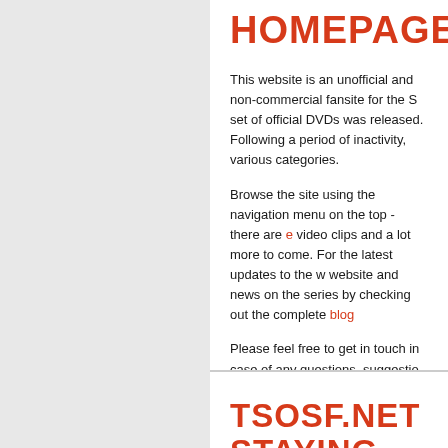HOMEPAGE
This website is an unofficial and non-commercial fansite for the S set of official DVDs was released. Following a period of inactivity various categories.
Browse the site using the navigation menu on the top - there are e video clips and a lot more to come. For the latest updates to the w website and news on the series by checking out the complete blog
Please feel free to get in touch in case of any questions, suggestio
Enjoy,
Daniel
TSOSF.NET STAYING ONLIN
Hello again, folks,